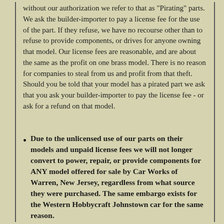without our authorization we refer to that as "Pirating" parts. We ask the builder-importer to pay a license fee for the use of the part. If they refuse, we have no recourse other than to refuse to provide components, or drives for anyone owning that model. Our license fees are reasonable, and are about the same as the profit on one brass model. There is no reason for companies to steal from us and profit from that theft. Should you be told that your model has a pirated part we ask that you ask your builder-importer to pay the license fee - or ask for a refund on that model.
Due to the unlicensed use of our parts on their models and unpaid license fees we will not longer convert to power, repair, or provide components for ANY model offered for sale by Car Works of Warren, New Jersey, regardless from what source they were purchased. The same embargo exists for the Western Hobbycraft Johnstown car for the same reason.